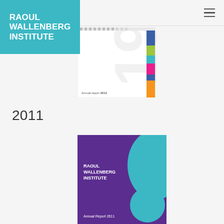[Figure (logo): Raoul Wallenberg Institute logo — white bold text on teal/cyan background]
[Figure (photo): Cover of Annual Report 2012 — white cover with colorful vertical stripe (blue, green, teal, pink, orange) and large watermark numerals '1912012' on right side]
2011
[Figure (photo): Cover of Annual Report 2011 — purple background with teal teardrop/splash shape and Raoul Wallenberg Institute logo in white, text 'Annual Report 2011' at bottom]